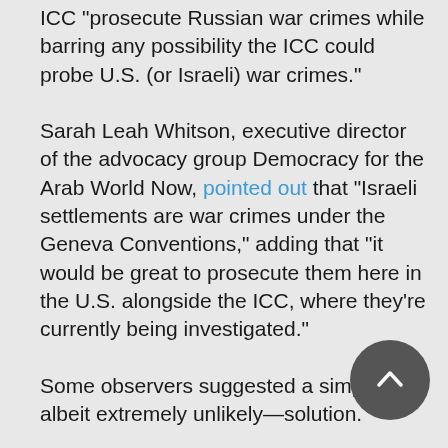ICC "prosecute Russian war crimes while barring any possibility the ICC could probe U.S. (or Israeli) war crimes."
Sarah Leah Whitson, executive director of the advocacy group Democracy for the Arab World Now, pointed out that "Israeli settlements are war crimes under the Geneva Conventions," adding that "it would be great to prosecute them here in the U.S. alongside the ICC, where they're currently being investigated."
Some observers suggested a simple—albeit extremely unlikely—solution.
"We could also just ratify the Rome Statute, my fellow Americans," tweeted Jessica